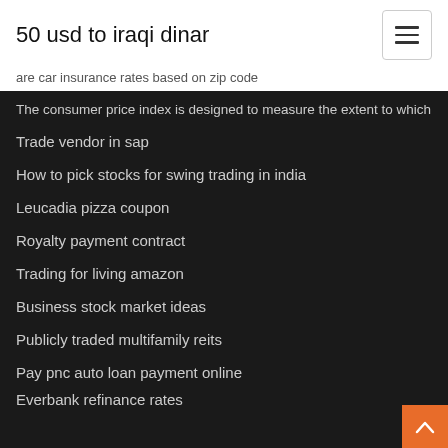50 usd to iraqi dinar
are car insurance rates based on zip code
The consumer price index is designed to measure the extent to which
Trade vendor in sap
How to pick stocks for swing trading in india
Leucadia pizza coupon
Royalty payment contract
Trading for living amazon
Business stock market ideas
Publicly traded multifamily reits
Pay pnc auto loan payment online
Everbank refinance rates